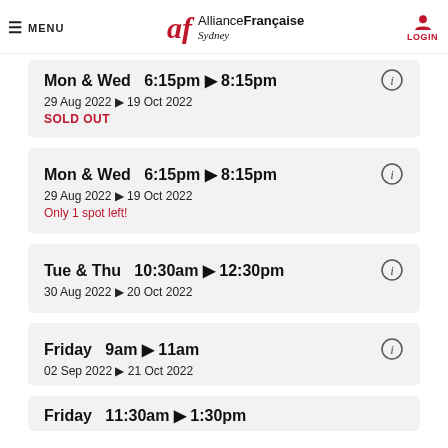MENU | Alliance Française Sydney | LOGIN
Mon & Wed  6:15pm ► 8:15pm
29 Aug 2022 ► 19 Oct 2022
SOLD OUT
Mon & Wed  6:15pm ► 8:15pm
29 Aug 2022 ► 19 Oct 2022
Only 1 spot left!
Tue & Thu  10:30am ► 12:30pm
30 Aug 2022 ► 20 Oct 2022
Friday  9am ► 11am
02 Sep 2022 ► 21 Oct 2022
Friday  11:30am ► 1:30pm